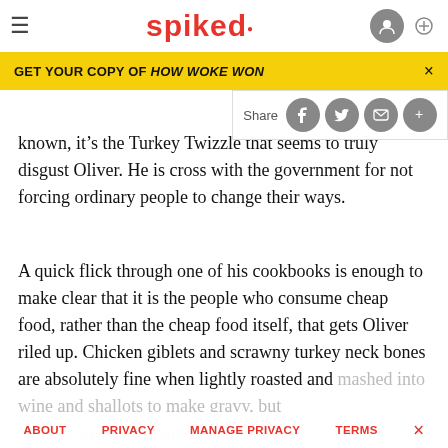spiked
multi-buys are carefully calibrated to make people spend more money than they'd buy it is only one small step...
GET YOUR COPY OF HOW WOKE WON
Share
known, it’s the Turkey Twizzle... truly disgust Oliver. He is cross with the government for not forcing ordinary people to change their ways.
A quick flick through one of his cookbooks is enough to make clear that it is the people who consume cheap food, rather than the cheap food itself, that gets Oliver riled up. Chicken giblets and scrawny turkey neck bones are absolutely fine when lightly roasted and mashed into wine and shallots to make gravy, but...
ABOUT   PRIVACY   MANAGE PRIVACY   TERMS